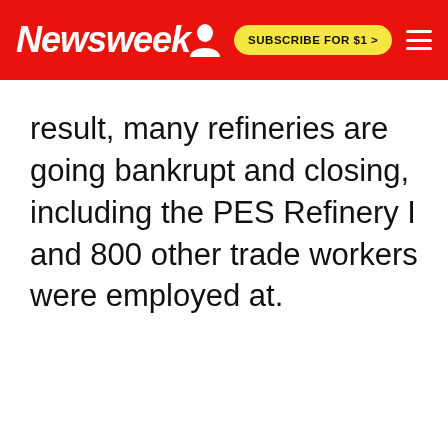Newsweek | SUBSCRIBE FOR $1 >
result, many refineries are going bankrupt and closing, including the PES Refinery I and 800 other trade workers were employed at.